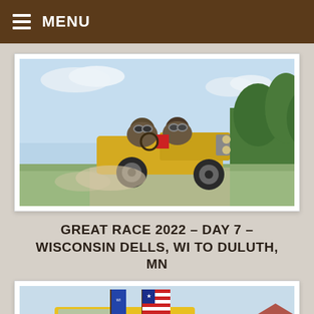MENU
[Figure (photo): Two people wearing goggles and helmets driving an antique/vintage open-cockpit racing car on a rural road with trees and blue sky in the background.]
GREAT RACE 2022 – DAY 7 – WISCONSIN DELLS, WI TO DULUTH, MN
[Figure (photo): A yellow vintage racing vehicle driving through a rural field with a Wisconsin state flag and an American flag flying from it. A sign on the vehicle reads 'FRADETTE RACING'.]